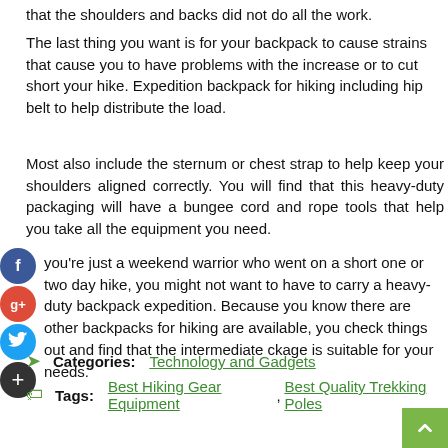that the shoulders and backs did not do all the work.
The last thing you want is for your backpack to cause strains that cause you to have problems with the increase or to cut short your hike. Expedition backpack for hiking including hip belt to help distribute the load.
Most also include the sternum or chest strap to help keep your shoulders aligned correctly. You will find that this heavy-duty packaging will have a bungee cord and rope tools that help you take all the equipment you need.
you're just a weekend warrior who went on a short one or two day hike, you might not want to have to carry a heavy-duty backpack expedition. Because you know there are other backpacks for hiking are available, you check things out and find that the intermediate ckage is suitable for your needs.
Categories:  Technology and Gadgets
Tags:   Best Hiking Gear Equipment, Best Quality Trekking Poles